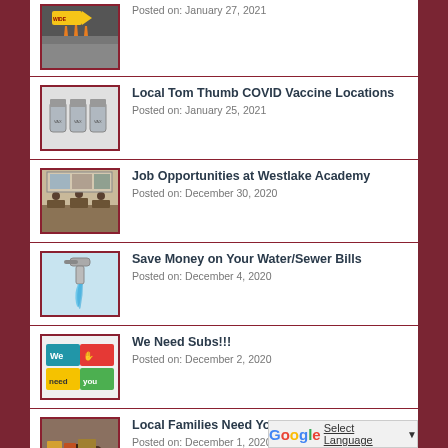Posted on: January 27, 2021
Local Tom Thumb COVID Vaccine Locations
Posted on: January 25, 2021
Job Opportunities at Westlake Academy
Posted on: December 30, 2020
Save Money on Your Water/Sewer Bills
Posted on: December 4, 2020
We Need Subs!!!
Posted on: December 2, 2020
Local Families Need Your Help
Posted on: December 1, 2020